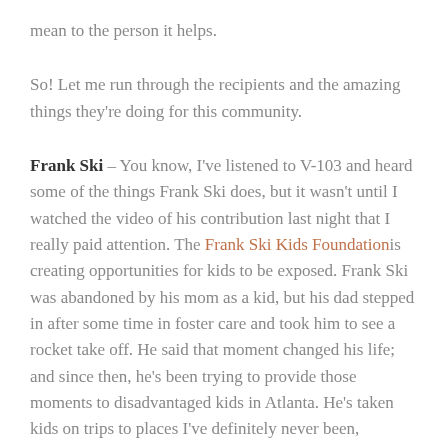mean to the person it helps.
So!  Let me run through the recipients and the amazing things they're doing for this community.
Frank Ski – You know, I've listened to V-103 and heard some of the things Frank Ski does, but it wasn't until I watched the video of his contribution last night that I really paid attention.  The Frank Ski Kids Foundation is creating opportunities for kids to be exposed.  Frank Ski was abandoned by his mom as a kid, but his dad stepped in after some time in foster care and took him to see a rocket take off.  He said that moment changed his life; and since then, he's been trying to provide those moments to disadvantaged kids in Atlanta.  He's taken kids on trips to places I've definitely never been, including the Amazon, and he sponsors kids to go to Space Camp since he wanted to go and was never able.  He also provides $1,000...